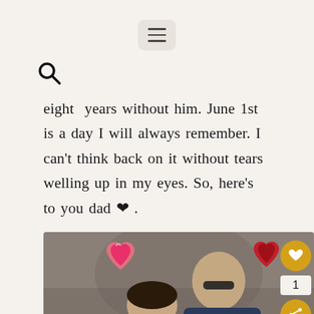[Figure (screenshot): Hamburger menu icon button in a rounded rectangle]
[Figure (screenshot): Search (magnifying glass) icon]
eight years without him. June 1st is a day I will always remember. I can't think back on it without tears welling up in my eyes. So, here's to you dad ❤ .
[Figure (photo): Photo of a young woman and an older man smiling together outdoors, decorated with heart stickers and a golden heart/share button overlay on the right side]